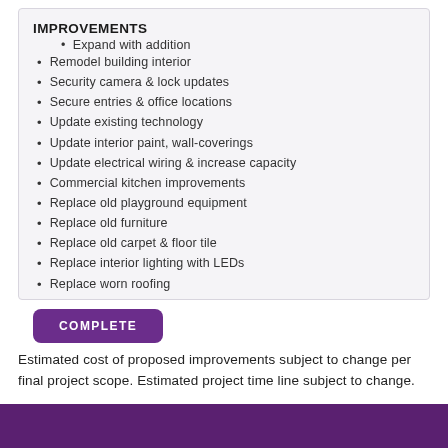IMPROVEMENTS
Expand with addition
Remodel building interior
Security camera & lock updates
Secure entries & office locations
Update existing technology
Update interior paint, wall-coverings
Update electrical wiring & increase capacity
Commercial kitchen improvements
Replace old playground equipment
Replace old furniture
Replace old carpet & floor tile
Replace interior lighting with LEDs
Replace worn roofing
COMPLETE
Estimated cost of proposed improvements subject to change per final project scope. Estimated project time line subject to change.